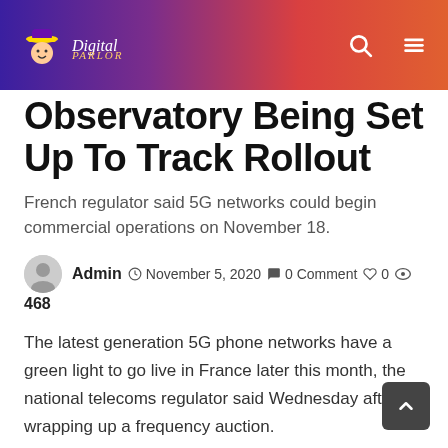Digital Parlor — navigation header with logo, search icon, and menu icon
Observatory Being Set Up To Track Rollout
French regulator said 5G networks could begin commercial operations on November 18.
Admin  November 5, 2020  0 Comment  0  468
The latest generation 5G phone networks have a green light to go live in France later this month, the national telecoms regulator said Wednesday after wrapping up a frequency auction.
France's Arcep regulator said the auction brought in EUR